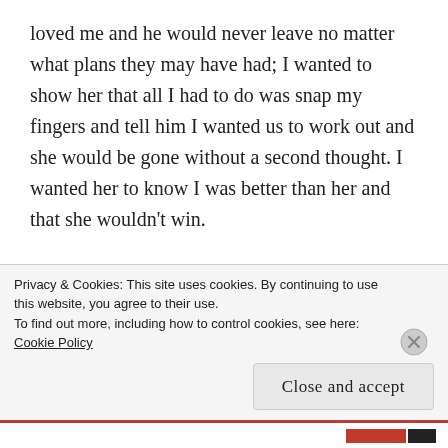loved me and he would never leave no matter what plans they may have had; I wanted to show her that all I had to do was snap my fingers and tell him I wanted us to work out and she would be gone without a second thought. I wanted her to know I was better than her and that she wouldn't win.
I demanded he end things with her. I wanted to see it in black and white. His story was that he called her instead and ended things. He said she cried when he told her he could never leave me. I loved that. I felt great satisfaction in hearing she cried, that she felt
Privacy & Cookies: This site uses cookies. By continuing to use this website, you agree to their use.
To find out more, including how to control cookies, see here: Cookie Policy
Close and accept